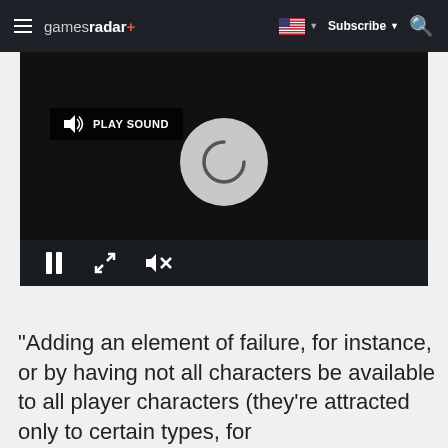gamesradar+ | Subscribe | Search
[Figure (screenshot): Video player with loading spinner, PLAY SOUND button, pause, expand, and mute controls on a dark background]
"Adding an element of failure, for instance, or by having not all characters be available to all player characters (they're attracted only to certain types, for